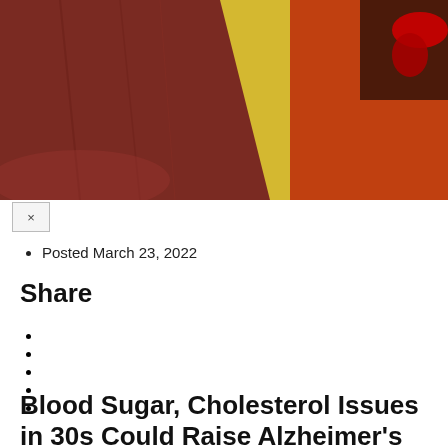[Figure (photo): Abstract close-up photo showing dark red, yellow, and orange shapes — likely a stylized medical or scientific illustration related to blood or cholesterol]
Posted March 23, 2022
Share
Blood Sugar, Cholesterol Issues in 30s Could Raise Alzheimer's Risk